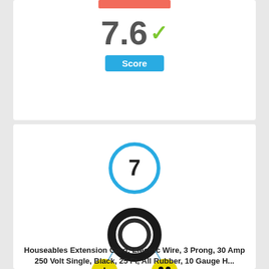[Figure (infographic): Score display showing 7.6 with a green checkmark and a blue 'Score' badge below it, on a white card]
[Figure (infographic): Ranking number 7 inside a cyan/light-blue circle, above a product photo of a Houseables extension cord (black coiled cable with yellow 30-amp plugs)]
Houseables Extension Cord, Electric Wire, 3 Prong, 30 Amp 250 Volt Single, Black, 25 Ft, All Rubber, 10 Gauge H...